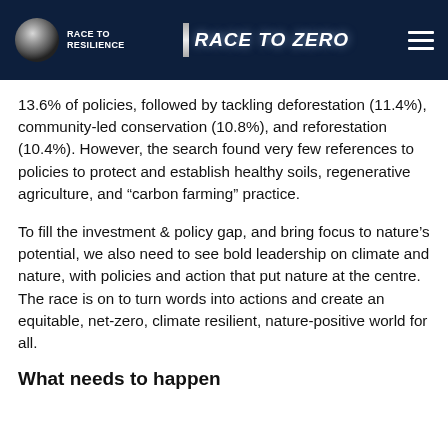RACE TO RESILIENCE | RACE TO ZERO
13.6% of policies, followed by tackling deforestation (11.4%), community-led conservation (10.8%), and reforestation (10.4%). However, the search found very few references to policies to protect and establish healthy soils, regenerative agriculture, and “carbon farming” practice.
To fill the investment & policy gap, and bring focus to nature’s potential, we also need to see bold leadership on climate and nature, with policies and action that put nature at the centre. The race is on to turn words into actions and create an equitable, net-zero, climate resilient, nature-positive world for all.
What needs to happen